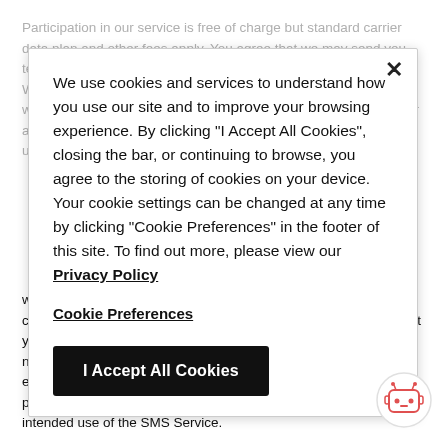Participation in our service is free of charge but standard carrier data plan and other fees apply. You agree that we may send you text messages using an autodialer or non-autodialer technology. We will not send commercial or promotional message to you without your express or implied prior consent. Your wireless carrier and other service providers also collect data about your SMS usage, and their practices are governed by their own policies.
We use cookies and services to understand how you use our site and to improve your browsing experience. By clicking "I Accept All Cookies", closing the bar, or continuing to browse, you agree to the storing of cookies on your device. Your cookie settings can be changed at any time by clicking "Cookie Preferences" in the footer of this site. To find out more, please view our Privacy Policy
Cookie Preferences
I Accept All Cookies
You acknowledge and agree that the SMS Service is provided via wireless systems which use radios (and other means) to transmit communications over complex networks. We do not guarantee that your use of the SMS Service will be private or secure, and we are not liable to you for any lack of privacy or security you may experience. You are fully responsible for taking precautions and providing security measures best suited for your situation and intended use of the SMS Service.